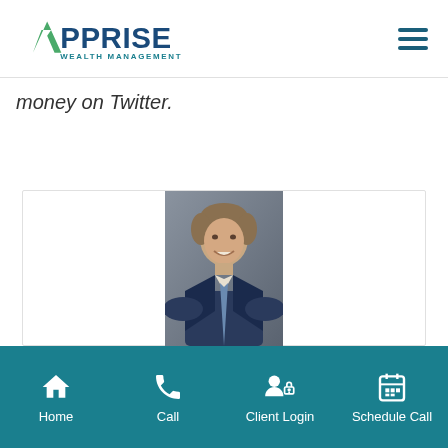Apprise Wealth Management
money on Twitter.
[Figure (photo): Professional headshot of a smiling middle-aged man in a dark suit with a blue tie, against a grey background.]
Home | Call | Client Login | Schedule Call